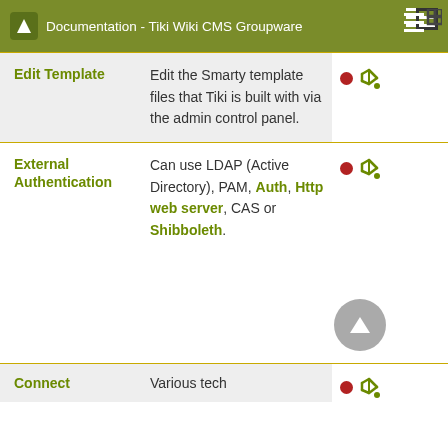Documentation - Tiki Wiki CMS Groupware
| Feature | Description | Icons | Level |
| --- | --- | --- | --- |
| Edit Template | Edit the Smarty template files that Tiki is built with via the admin control panel. | ● 🔧 | B |
| External Authentication | Can use LDAP (Active Directory), PAM, Auth, Http web server, CAS or Shibboleth. | ● 🔧 | B |
| Connect | Various tech... | ● 🔧 | B |